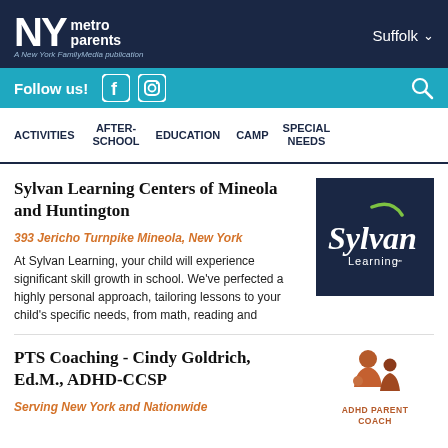NY metro parents — A New York FamilyMedia publication — Suffolk
Follow us! [Facebook] [Instagram] [Search]
ACTIVITIES | AFTER-SCHOOL | EDUCATION | CAMP | SPECIAL NEEDS
Sylvan Learning Centers of Mineola and Huntington
393 Jericho Turnpike Mineola, New York
At Sylvan Learning, your child will experience significant skill growth in school. We've perfected a highly personal approach, tailoring lessons to your child's specific needs, from math, reading and
[Figure (logo): Sylvan Learning logo on dark navy background — white cursive 'Sylvan' text with green swoosh/checkmark accent, 'Learning' in small white text below]
PTS Coaching - Cindy Goldrich, Ed.M., ADHD-CCSP
Serving New York and Nationwide
[Figure (logo): ADHD Parent Coach logo: stylized brown figures of parent and child, orange/brown color scheme, text 'ADHD PARENT COACH' below]